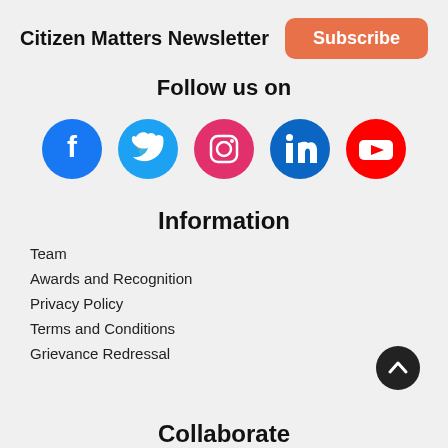Citizen Matters Newsletter Subscribe
Follow us on
[Figure (infographic): Five social media icons in a row: Facebook (blue circle), Twitter (light blue circle), Instagram (pink/magenta circle), LinkedIn (dark blue circle), YouTube (red circle)]
Information
Team
Awards and Recognition
Privacy Policy
Terms and Conditions
Grievance Redressal
Collaborate